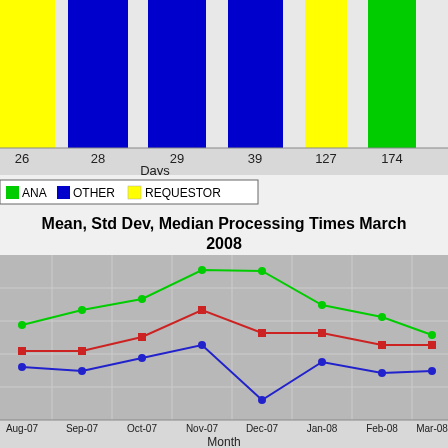[Figure (stacked-bar-chart): Partial view of horizontal stacked bar chart with colored segments (yellow=REQUESTOR, blue=OTHER, green=ANA/OTHER, white=remainder)]
[Figure (other): Legend showing ANA (green), OTHER (blue), REQUESTOR (yellow)]
Mean, Std Dev, Median Processing Times March 2008
[Figure (line-chart): Mean, Std Dev, Median Processing Times March 2008]